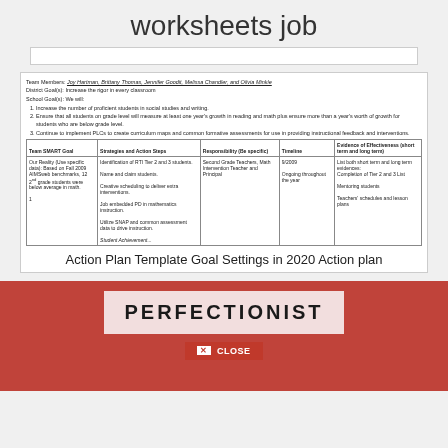worksheets job
| Team SMART Goal | Strategies and Action Steps | Responsibility (Be specific) | Timeline | Evidence of Effectiveness (short term and long term) |
| --- | --- | --- | --- | --- |
| Our Reality (Use specific data): Based on Fall 2009 AIMSweb benchmarks, 12 2nd grade students were below average in math. | Identification of RTI Tier 2 and 3 students.
Name and claim students.
Creative scheduling to deliver extra interventions.
Job embedded PD in mathematics instruction.
Utilize SNAP and common assessment data to drive instruction.
Student Achievement... | Second Grade Teachers, Math Intervention Teacher and Principal | 9/2009
Ongoing throughout the year | List both short term and long term evidences:
Completion of Tier 2 and 3 List
Mentoring students
Teachers' schedules and lesson plans |
Action Plan Template Goal Settings in 2020 Action plan
[Figure (other): Red background card with PERFECTIONIST text and a CLOSE button]